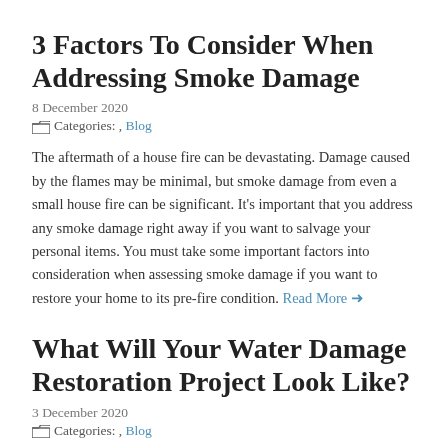3 Factors To Consider When Addressing Smoke Damage
8 December 2020
Categories: , Blog
The aftermath of a house fire can be devastating. Damage caused by the flames may be minimal, but smoke damage from even a small house fire can be significant. It's important that you address any smoke damage right away if you want to salvage your personal items. You must take some important factors into consideration when assessing smoke damage if you want to restore your home to its pre-fire condition. Read More →
What Will Your Water Damage Restoration Project Look Like?
3 December 2020
Categories: , Blog
Fixing a home or place of business after water damage has occurred is a